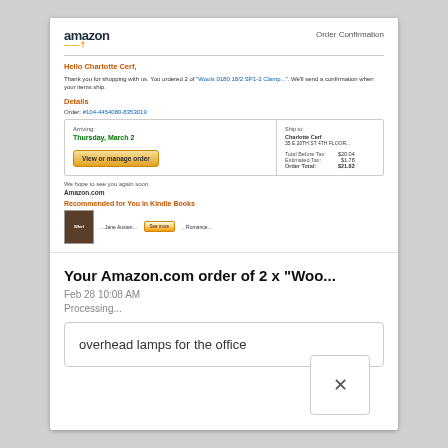[Figure (screenshot): Amazon order confirmation email preview showing logo, 'Order Confirmation' header, greeting to Charlotte Cerf, order details with arriving date Thursday March 2, ship to address, totals, and Recommended for You in Kindle Books section]
Your Amazon.com order of 2 x "Woo...
Feb 28 10:08 AM
Processing...
overhead lamps for the office